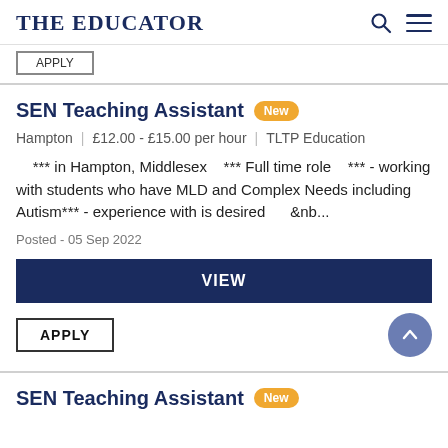THE EDUCATOR
[APPLY button stub from previous card]
SEN Teaching Assistant New
Hampton | £12.00 - £15.00 per hour | TLTP Education
*** in Hampton, Middlesex    *** Full time role    *** - working with students who have MLD and Complex Needs including Autism*** - experience with is desired      &nb...
Posted - 05 Sep 2022
VIEW
APPLY
SEN Teaching Assistant New